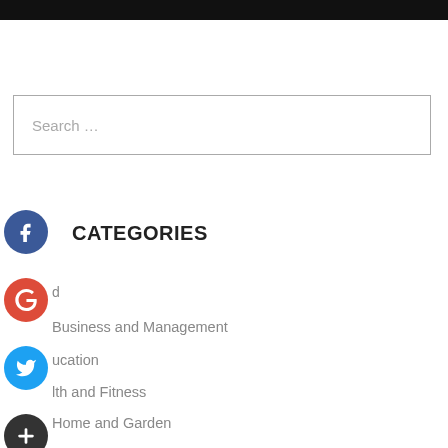Search …
CATEGORIES
d
Business and Management
ucation
lth and Fitness
Home and Garden
Legal
Marketing and Advertising